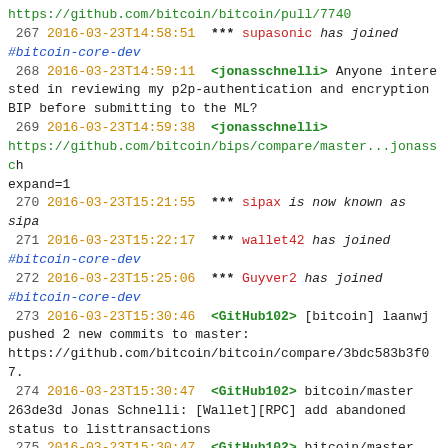https://github.com/bitcoin/bitcoin/pull/7740
267 2016-03-23T14:58:51  *** supasonic has joined #bitcoin-core-dev
268 2016-03-23T14:59:11  <jonasschnelli> Anyone interested in reviewing my p2p-authentication and encryption BIP before submitting to the ML?
269 2016-03-23T14:59:38  <jonasschnelli> https://github.com/bitcoin/bips/compare/master...jonasschnelli:bip_p2p... expand=1
270 2016-03-23T15:21:55  *** sipax is now known as sipa
271 2016-03-23T15:22:17  *** wallet42 has joined #bitcoin-core-dev
272 2016-03-23T15:25:06  *** Guyver2 has joined #bitcoin-core-dev
273 2016-03-23T15:30:46  <GitHub102> [bitcoin] laanwj pushed 2 new commits to master: https://github.com/bitcoin/bitcoin/compare/3bdc583b3f07...
274 2016-03-23T15:30:47  <GitHub102> bitcoin/master 263de3d Jonas Schnelli: [Wallet][RPC] add abandoned status to listtransactions
275 2016-03-23T15:30:47  <GitHub102> bitcoin/master 09a079e Wladimir J. van der Laan: Merge #7739: [Wallet][RPC] add abandoned status to listtransactions...
276 2016-03-23T15:30:51  <GitHub61> [bitcoin] laanwj closed pull request #7739: [Wallet][RPC] add abandoned status to listtransactions (master...2016/03/aba_rpc) https://github.com/bitcoin/bitcoin/pull/7739